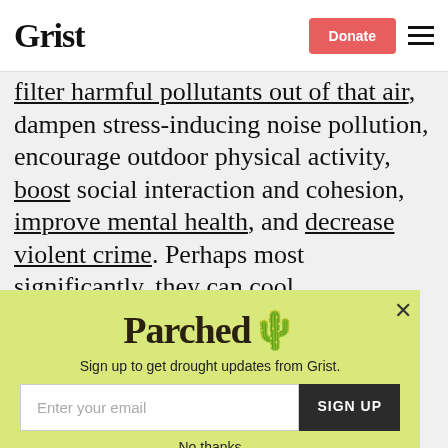Grist | Donate
filter harmful pollutants out of that air, dampen stress-inducing noise pollution, encourage outdoor physical activity, boost social interaction and cohesion, improve mental health, and decrease violent crime. Perhaps most significantly, they can cool neighborhoods by up to 9 degrees Fahrenheit. With climate change making…
[Figure (other): Parched newsletter signup modal overlay with email input and SIGN UP button on a yellow-green background. Title: Parched. Subtitle: Sign up to get drought updates from Grist. Contains email field, SIGN UP button, and No thanks link.]